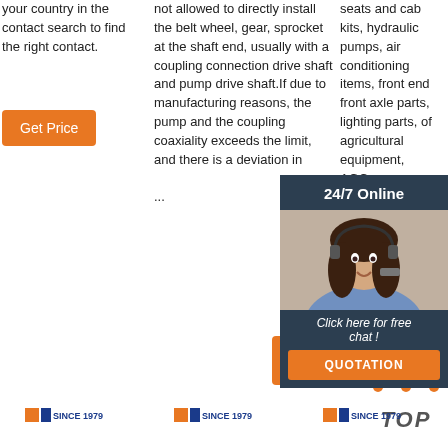your country in the contact search to find the right contact.
[Figure (other): Orange 'Get Price' button in column 1]
not allowed to directly install the belt wheel, gear, sprocket at the shaft end, usually with a coupling connection drive shaft and pump drive shaft.If due to manufacturing reasons, the pump and the coupling coaxiality exceeds the limit, and there is a deviation in ...
[Figure (other): Orange 'Get Price' button below column 2 text]
seats and cab kits, hydraulic pumps, air conditioning items, front end front axle parts, lighting parts, of agricultural equipment, AGC...
[Figure (other): 24/7 Online chat overlay with customer service representative photo and QUOTATION button]
[Figure (other): TOP navigation button with orange dots triangle and TOP text]
[Figure (logo): Three MLS since 1979 logos at the bottom of the page]